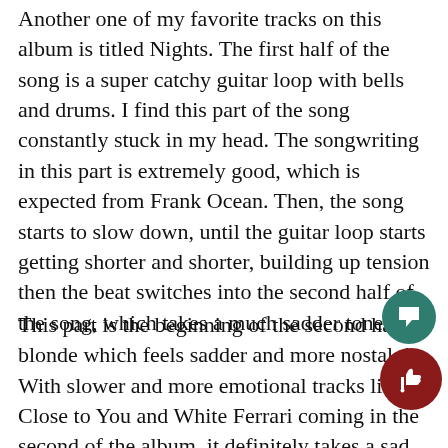Another one of my favorite tracks on this album is titled Nights. The first half of the song is a super catchy guitar loop with bells and drums. I find this part of the song constantly stuck in my head. The songwriting in this part is extremely good, which is expected from Frank Ocean. Then, the song starts to slow down, until the guitar loop starts getting shorter and shorter, building up tension then the beat switches into the second half of the song, which takes a much sadder tone.
This part is the beginning of the second half of blonde which feels sadder and more nostalgic. With slower and more emotional tracks like Close to You and White Ferrari coming in the second of the album, it definitely takes a sad turn after Nights. This shift is one of my favorite parts of the album.